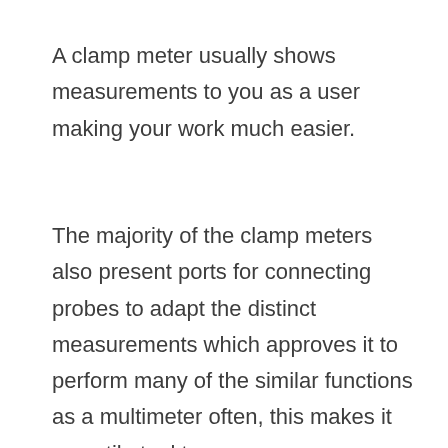A clamp meter usually shows measurements to you as a user making your work much easier.
The majority of the clamp meters also present ports for connecting probes to adapt the distinct measurements which approves it to perform many of the similar functions as a multimeter often, this makes it versatile tool too.